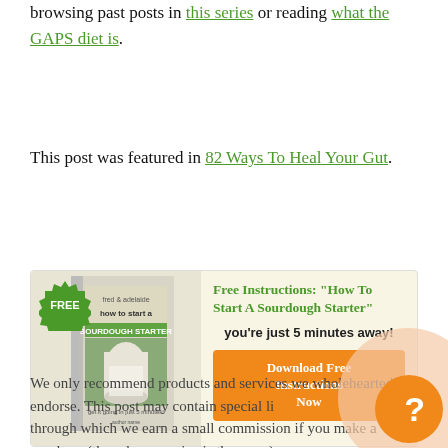browsing past posts in this series or reading what the GAPS diet is.
This post was featured in 82 Ways To Heal Your Gut.
[Figure (infographic): Advertisement box with light yellow background. Left side shows a book cover for 'how to start a SOURDOUGH STARTER' with a green 'FREE' badge. Right side has green text 'Free Instructions: "How To Start A Sourdough Starter"', subtext 'you’re just 5 minutes away!', and an orange button 'Download Free Instructions Now'.]
We only recommend products and services we wholeheartedly endorse. This post may contain special links through which we earn a small commission if you make a purchase (though your price is the same).